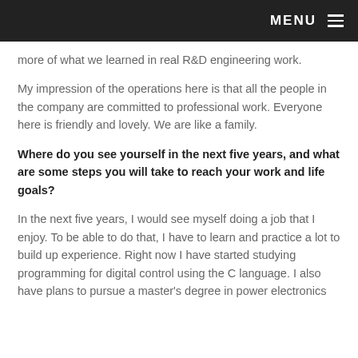MENU
more of what we learned in real R&D engineering work.
My impression of the operations here is that all the people in the company are committed to professional work. Everyone here is friendly and lovely. We are like a family.
Where do you see yourself in the next five years, and what are some steps you will take to reach your work and life goals?
In the next five years, I would see myself doing a job that I enjoy. To be able to do that, I have to learn and practice a lot to build up experience. Right now I have started studying programming for digital control using the C language. I also have plans to pursue a master's degree in power electronics